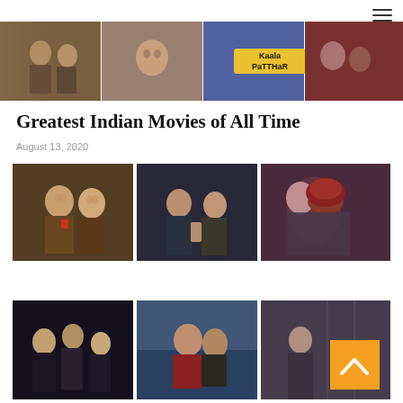[Figure (photo): Hamburger/navigation menu icon (three horizontal lines) in top right corner]
[Figure (photo): Horizontal banner strip showing collage of Indian movie stills including cycling scene, actress smiling, Kaala Patthar movie poster text, and other scenes]
Greatest Indian Movies of All Time
August 13, 2020
[Figure (photo): Grid of 6 movie stills arranged in 2 rows of 3. Top row: two young men talking with drinks, two men in confrontation scene, couple embracing with red hair woman. Bottom row: group of young people looking up, couple embracing outdoors dramatic sky, person against wall scene. Orange back-to-top arrow button overlaid on bottom right cell.]